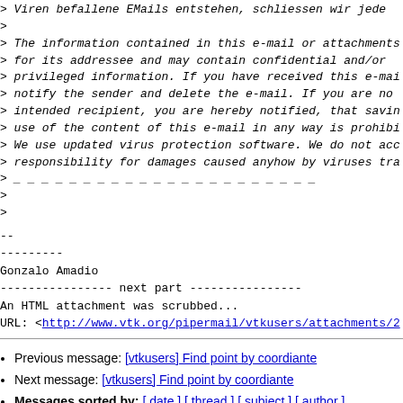> Viren befallene EMails entstehen, schliessen wir jede
>
> The information contained in this e-mail or attachments
> for its addressee and may contain confidential and/or
> privileged information. If you have received this e-mai
> notify the sender and delete the e-mail. If you are no
> intended recipient, you are hereby notified, that savin
> use of the content of this e-mail in any way is prohibi
> We use updated virus protection software. We do not acc
> responsibility for damages caused anyhow by viruses tra
> _ _ _ _ _ _ _ _ _ _ _ _ _ _ _ _ _ _ _ _ _ _ _ _
>
>
--
---------
Gonzalo Amadio
---------------- next part ----------------
An HTML attachment was scrubbed...
URL: <http://www.vtk.org/pipermail/vtkusers/attachments/2
Previous message: [vtkusers] Find point by coordiante
Next message: [vtkusers] Find point by coordiante
Messages sorted by: [ date ] [ thread ] [ subject ] [ author ]
More information about the vtkusers mailing list